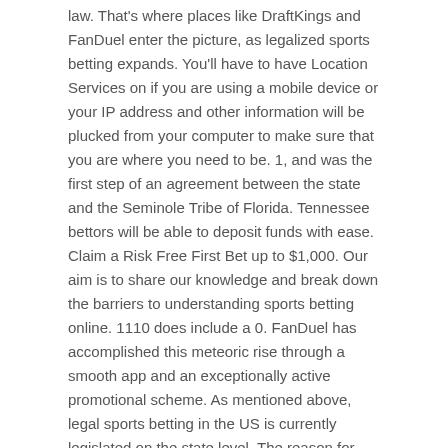law. That's where places like DraftKings and FanDuel enter the picture, as legalized sports betting expands. You'll have to have Location Services on if you are using a mobile device or your IP address and other information will be plucked from your computer to make sure that you are where you need to be. 1, and was the first step of an agreement between the state and the Seminole Tribe of Florida. Tennessee bettors will be able to deposit funds with ease. Claim a Risk Free First Bet up to $1,000. Our aim is to share our knowledge and break down the barriers to understanding sports betting online. 1110 does include a 0. FanDuel has accomplished this meteoric rise through a smooth app and an exceptionally active promotional scheme. As mentioned above, legal sports betting in the US is currently legislated on the state level. The reason for DraftKings' success could be attributed to its brand awareness but the sportsbook itself backs up any assumptions.
The Masters 2022
At this time, Tennessee hadn't joined the discussions. A bill was proposed in January of 2019 that would've allowed for the regulation of sports gambling through a newly established corporation, but the bill was denied. There are members of the House that side with legalizing sports wagering. In 2018, the United States Supreme Court overruled...